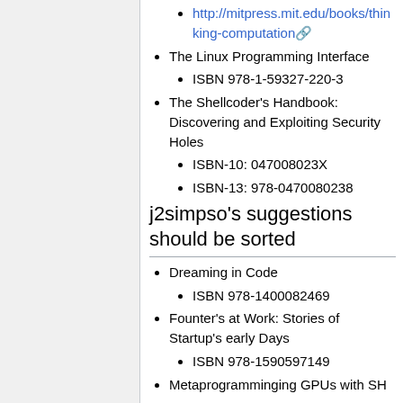http://mitpress.mit.edu/books/thinking-computation
The Linux Programming Interface
ISBN 978-1-59327-220-3
The Shellcoder's Handbook: Discovering and Exploiting Security Holes
ISBN-10: 047008023X
ISBN-13: 978-0470080238
j2simpso's suggestions should be sorted
Dreaming in Code
ISBN 978-1400082469
Founter's at Work: Stories of Startup's early Days
ISBN 978-1590597149
Metaprogramminging GPUs with SH